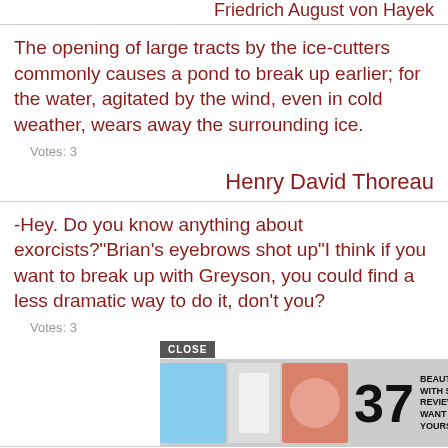Friedrich August von Hayek
The opening of large tracts by the ice-cutters commonly causes a pond to break up earlier; for the water, agitated by the wind, even in cold weather, wears away the surrounding ice.
Votes: 3
Henry David Thoreau
-Hey. Do you know anything about exorcists?"Brian's eyebrows shot up"I think if you want to break up with Greyson, you could find a less dramatic way to do it, don't you?
Votes: 3
[Figure (other): Advertisement banner: 37 Beauty Products With Such Good Reviews You Might Want To Try Them Yourself, with product images and 22 Words logo]
Kane
Each email contains an unsubscribe link. We will NEVER sell, rent, loan, or abuse your